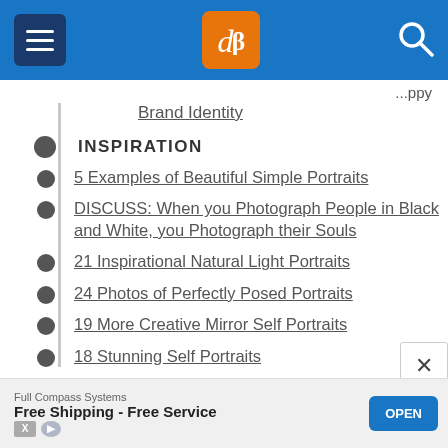dPS navigation header
Brand Identity
INSPIRATION
5 Examples of Beautiful Simple Portraits
DISCUSS: When you Photograph People in Black and White, you Photograph their Souls
21 Inspirational Natural Light Portraits
24 Photos of Perfectly Posed Portraits
19 More Creative Mirror Self Portraits
18 Stunning Self Portraits
Full Compass Systems
Free Shipping - Free Service
OPEN